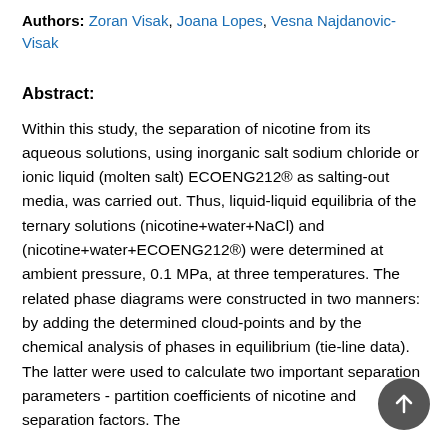Authors: Zoran Visak, Joana Lopes, Vesna Najdanovic-Visak
Abstract:
Within this study, the separation of nicotine from its aqueous solutions, using inorganic salt sodium chloride or ionic liquid (molten salt) ECOENG212® as salting-out media, was carried out. Thus, liquid-liquid equilibria of the ternary solutions (nicotine+water+NaCl) and (nicotine+water+ECOENG212®) were determined at ambient pressure, 0.1 MPa, at three temperatures. The related phase diagrams were constructed in two manners: by adding the determined cloud-points and by the chemical analysis of phases in equilibrium (tie-line data). The latter were used to calculate two important separation parameters - partition coefficients of nicotine and separation factors. The